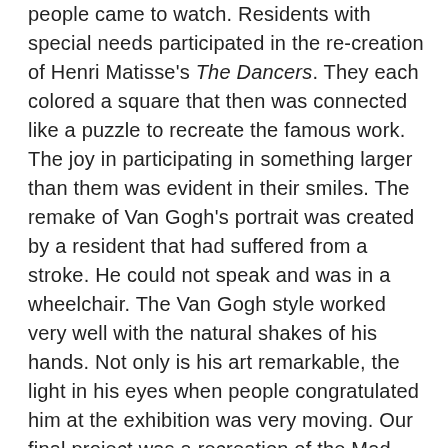people came to watch. Residents with special needs participated in the re-creation of Henri Matisse's The Dancers. They each colored a square that then was connected like a puzzle to recreate the famous work. The joy in participating in something larger than them was evident in their smiles. The remake of Van Gogh's portrait was created by a resident that had suffered from a stroke. He could not speak and was in a wheelchair. The Van Gogh style worked very well with the natural shakes of his hands. Not only is his art remarkable, the light in his eyes when people congratulated him at the exhibition was very moving. Our final project was a recreation of the Mad Hatters Tea Party by Louis Carroll.  The residents were invited to a Tea Party and asked to come dressed up.  It was a magical and crazy kind of event!